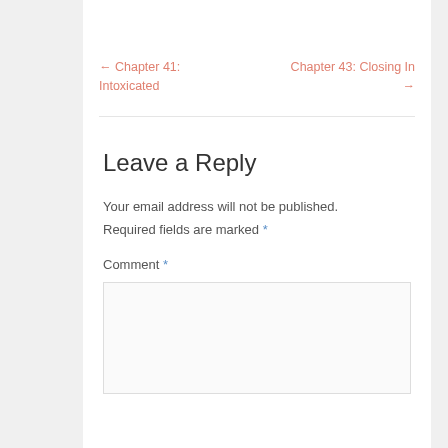← Chapter 41: Intoxicated
Chapter 43: Closing In →
Leave a Reply
Your email address will not be published.
Required fields are marked *
Comment *